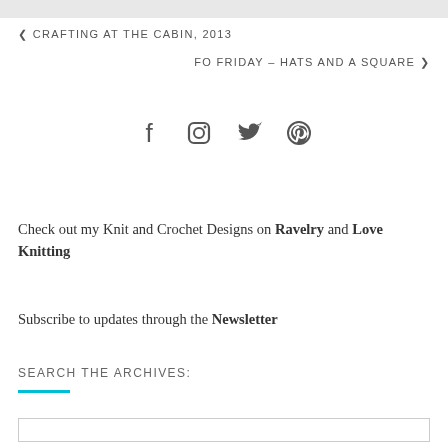❮ CRAFTING AT THE CABIN, 2013
FO FRIDAY – HATS AND A SQUARE ❯
[Figure (infographic): Social media icons: Facebook, Instagram, Twitter, Pinterest]
Check out my Knit and Crochet Designs on Ravelry and Love Knitting
Subscribe to updates through the Newsletter
SEARCH THE ARCHIVES: